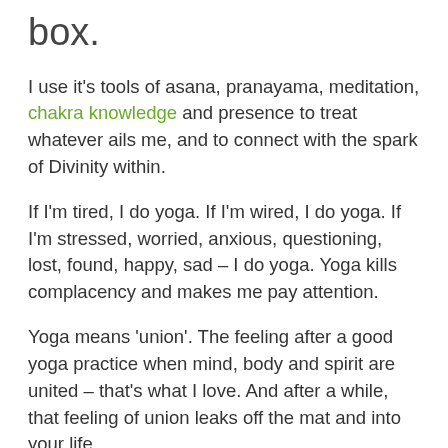box.
I use it's tools of asana, pranayama, meditation, chakra knowledge and presence to treat whatever ails me, and to connect with the spark of Divinity within.
If I'm tired, I do yoga. If I'm wired, I do yoga. If I'm stressed, worried, anxious, questioning, lost, found, happy, sad – I do yoga. Yoga kills complacency and makes me pay attention.
Yoga means 'union'. The feeling after a good yoga practice when mind, body and spirit are united – that's what I love. And after a while, that feeling of union leaks off the mat and into your life.
Those things that we learn on the mat: dedication, commitment, bringing yourself to the flexibility